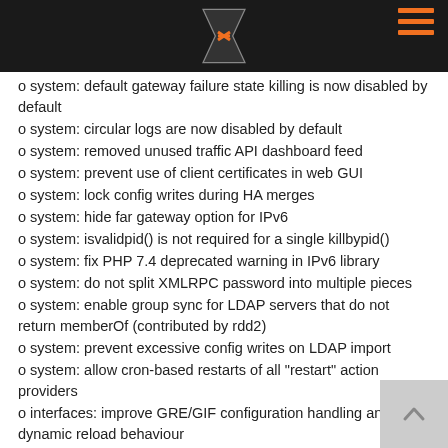[Logo and hamburger menu]
o system: default gateway failure state killing is now disabled by default
o system: circular logs are now disabled by default
o system: removed unused traffic API dashboard feed
o system: prevent use of client certificates in web GUI
o system: lock config writes during HA merges
o system: hide far gateway option for IPv6
o system: isvalidpid() is not required for a single killbypid()
o system: fix PHP 7.4 deprecated warning in IPv6 library
o system: do not split XMLRPC password into multiple pieces
o system: enable group sync for LDAP servers that do not return memberOf (contributed by rdd2)
o system: prevent excessive config writes on LDAP import
o system: allow cron-based restarts of all "restart" action providers
o interfaces: improve GRE/GIF configuration handling and dynamic reload behaviour
o interfaces: remove duplicated handling of PPP IPv6 interface detection